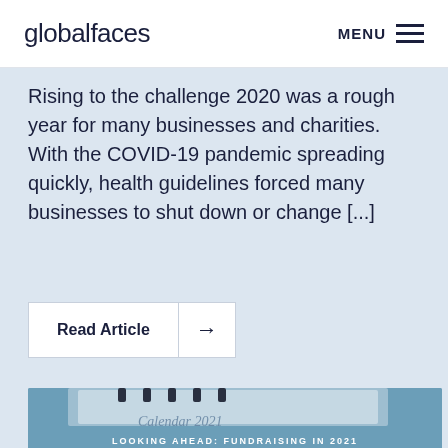globalfaces | MENU
Rising to the challenge 2020 was a rough year for many businesses and charities. With the COVID-19 pandemic spreading quickly, health guidelines forced many businesses to shut down or change [...]
Read Article →
[Figure (photo): Photo of a Calendar 2021 book/planner on a blue background, with spiral binding visible at top. Partially visible text at bottom reads 'LOOKING AHEAD: FUNDRAISING IN 2021']